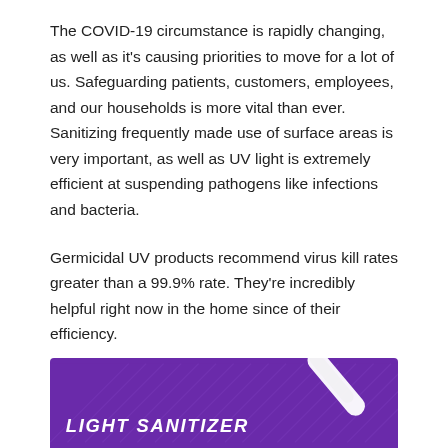The COVID-19 circumstance is rapidly changing, as well as it's causing priorities to move for a lot of us. Safeguarding patients, customers, employees, and our households is more vital than ever. Sanitizing frequently made use of surface areas is very important, as well as UV light is extremely efficient at suspending pathogens like infections and bacteria.
Germicidal UV products recommend virus kill rates greater than a 99.9% rate. They're incredibly helpful right now in the home since of their efficiency.
[Figure (infographic): Purple banner with diagonal stripe texture showing a white UV light sanitizer wand on the right side and bold white italic text reading 'LIGHT SANITIZER' at the bottom left.]